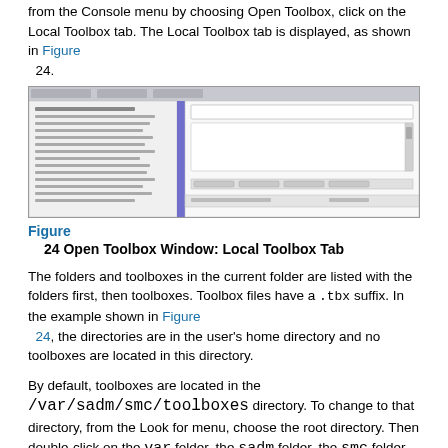from the Console menu by choosing Open Toolbox, click on the Local Toolbox tab. The Local Toolbox tab is displayed, as shown in Figure 24.
[Figure (screenshot): Screenshot of the Open Toolbox Window showing the Local Toolbox Tab with a file browser panel on the left and a details panel on the right.]
Figure 24 Open Toolbox Window: Local Toolbox Tab
The folders and toolboxes in the current folder are listed with the folders first, then toolboxes. Toolbox files have a .tbx suffix. In the example shown in Figure 24, the directories are in the user's home directory and no toolboxes are located in this directory.
By default, toolboxes are located in the /var/sadm/smc/toolboxes directory. To change to that directory, from the Look for menu, choose the root directory. Then double-click on the var folder, the sadm folder, the smc folder, and the toolboxes folder. The toolboxes for the local